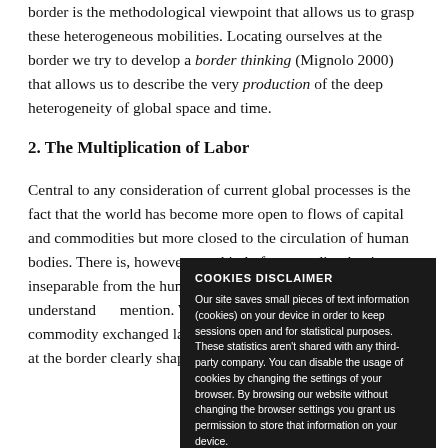border is the methodological viewpoint that allows us to grasp these heterogeneous mobilities. Locating ourselves at the border we try to develop a border thinking (Mignolo 2000) that allows us to describe the very production of the deep heterogeneity of global space and time.
2. The Multiplication of Labor
Central to any consideration of current global processes is the fact that the world has become more open to flows of capital and commodities but more closed to the circulation of human bodies. There is, however, one kind of commodity that is inseparable from the human body and it is the pecu... understand... mention. W... once descri... markets at... commodity... exchanged ... labor mark... differentiation that occur at the border clearly shape labor forces in and
COOKIES DISCLAIMER
Our site saves small pieces of text information (cookies) on your device in order to keep sessions open and for statistical purposes. These statistics aren't shared with any third-party company. You can disable the usage of cookies by changing the settings of your browser. By browsing our website without changing the browser settings you grant us permission to store that information on your device.
I AGREE